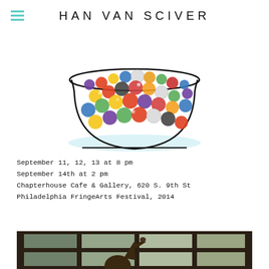HAN VAN SCIVER
[Figure (illustration): Drawing/illustration of a glass bowl filled with colorful marbles of various sizes and colors including red, yellow, blue, green, white, and multicolored marbles. The bowl is outlined in black with a light blue shadow beneath.]
September 11, 12, 13 at 8 pm
September 14th at 2 pm
Chapterhouse Cafe & Gallery, 620 S. 9th St
Philadelphia FringeArts Festival, 2014
[Figure (photo): Photograph of a person (seen from behind/side) with raised hand touching a multi-pane window. The background outside is bright and blurred. The image has a moody, dark-toned aesthetic.]